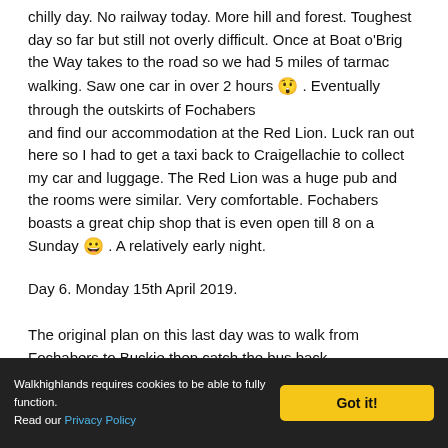chilly day. No railway today. More hill and forest. Toughest day so far but still not overly difficult. Once at Boat o'Brig the Way takes to the road so we had 5 miles of tarmac walking. Saw one car in over 2 hours 😲 . Eventually through the outskirts of Fochabers
and find our accommodation at the Red Lion. Luck ran out here so I had to get a taxi back to Craigellachie to collect my car and luggage. The Red Lion was a huge pub and the rooms were similar. Very comfortable. Fochabers boasts a great chip shop that is even open till 8 on a Sunday 😀 . A relatively early night.
Day 6. Monday 15th April 2019.
The original plan on this last day was to walk from Fochabers to Buckie then catch the bus back,
Walkhighlands requires cookies to be able to fully function. Read our Privacy Policy